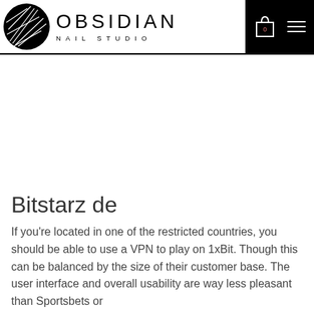OBSIDIAN NAIL STUDIO
Bitstarz de
If you're located in one of the restricted countries, you should be able to use a VPN to play on 1xBit. Though this can be balanced by the size of their customer base. The user interface and overall usability are way less pleasant than Sportsbets or...